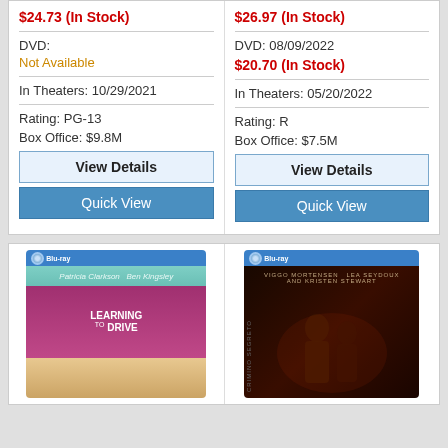$24.73 (In Stock)
$26.97 (In Stock)
DVD:
DVD: 08/09/2022
Not Available
$20.70 (In Stock)
In Theaters: 10/29/2021
In Theaters: 05/20/2022
Rating: PG-13
Rating: R
Box Office: $9.8M
Box Office: $7.5M
View Details
View Details
Quick View
Quick View
[Figure (photo): Blu-ray cover of 'Learning to Drive' featuring Patricia Clarkson and Ben Kingsley]
[Figure (photo): Blu-ray cover featuring Viggo Mortensen, Lea Seydoux, and Kristen Stewart - appears to be a thriller/drama film]